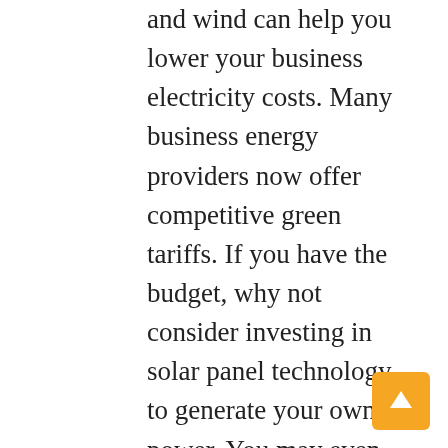and wind can help you lower your business electricity costs. Many business energy providers now offer competitive green tariffs. If you have the budget, why not consider investing in solar panel technology to generate your own power. You may even be eligible for a Government grant to help you reduce your overall carbon footprint. Many customers have responded positively towards businesses that